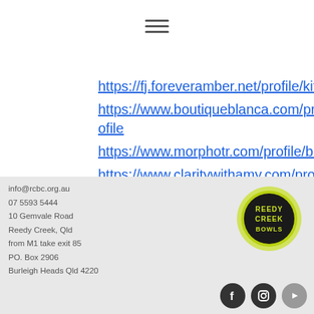[Figure (other): Hamburger menu icon (three horizontal lines)]
https://fj.foreveramber.net/profile/kittiekiekbusch17216537/profile
https://www.boutiqueblanca.com/profile/alizabrandow12086131/profile
https://www.morphotr.com/profile/bulaguinyard3585776/profile
https://www.claritywithamy.com/profile/donnkranich4197513/profile
info@rcbc.org.au
07 5593 5444
10 Gemvale Road
Reedy Creek, Qld
from M1 take exit 85
PO. Box 2906
Burleigh Heads Qld 4220